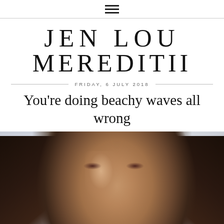☰ (hamburger menu icon)
JEN LOU MEREDITII
FRIDAY, 6 JULY 2018
You're doing beachy waves all wrong
[Figure (photo): Close-up portrait of a young woman with dark wavy hair, bold eyebrows, subtle eye makeup with reddish eyeshadow, and glowing skin. The background is light grey/white.]